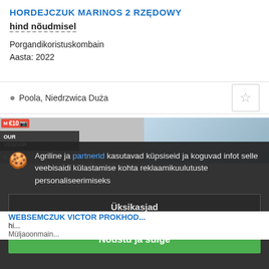HORDEJCZUK MARINOS 2 RZĘDOWY
hind nõudmisel
Porgandikoristuskombain
Aasta: 2022
Poola, Niedrzwica Duża
[Figure (screenshot): Two listing images partially visible in a strip; left image has red badge with 'M€10' and camera icon, dark overlay text 'OUR VENDOR' and '+ VIDEO' label below; right image shows sky/outdoor scene.]
Agriline ja partnerid kasutavad küpsiseid ja koguvad infot selle veebisaidi külastamise kohta reklaamikuulutuste personaliseerimiseks
Üksikasjad
Nõustu ja sulge
WEBSEMCZUK VICTOR PROKHOD...
hi...
Müljaoonmain...